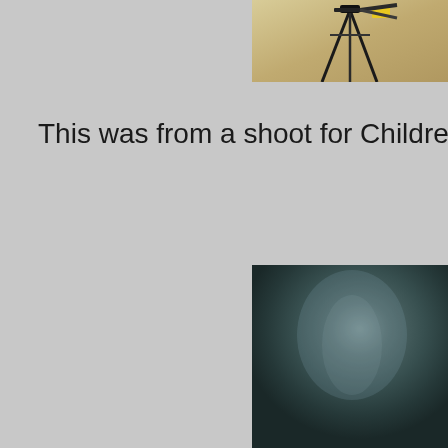[Figure (photo): Partial view of a tripod or camera stand on a light sandy/beige background, cropped at top-right of page]
This was from a shoot for Children in Need at a stu
[Figure (photo): Dark studio backdrop or background, dark teal/grey gradient, partially visible at bottom-right of page]